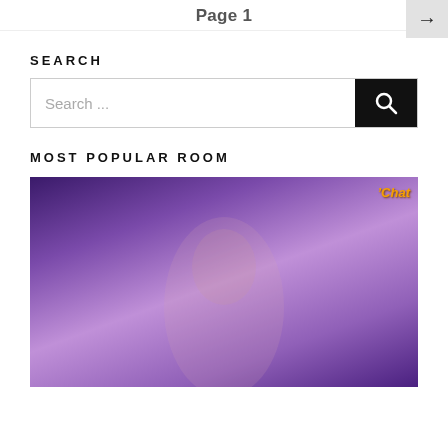Page 1
SEARCH
Search ...
MOST POPULAR ROOM
[Figure (photo): Screenshot of a webcam stream showing a person in a purple-lit room. A 'Chat' logo badge appears in the top right corner of the image.]